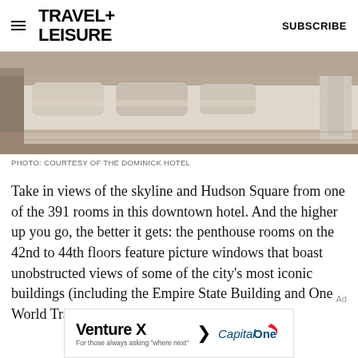TRAVEL+ LEISURE   SUBSCRIBE
[Figure (photo): Hotel room photo showing a neatly made bed with white linens and pillows, neutral beige tones, courtesy of The Dominick Hotel]
PHOTO: COURTESY OF THE DOMINICK HOTEL
Take in views of the skyline and Hudson Square from one of the 391 rooms in this downtown hotel. And the higher up you go, the better it gets: the penthouse rooms on the 42nd to 44th floors feature picture windows that boast unobstructed views of some of the city's most iconic buildings (including the Empire State Building and One World Trade
[Figure (illustration): Capital One Venture X advertisement banner: 'Venture X > CapitalOne - For those always asking "where next"']